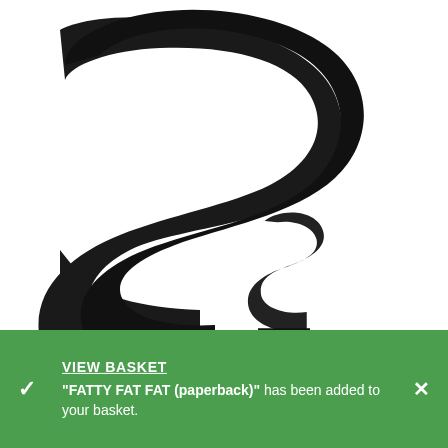[Figure (logo): Large stylized 'S' logo letterform in black on white background, close-cropped, with a smaller 's' overlapping at bottom right]
VIEW BASKET
"FATTY FAT FAT (paperback)" has been added to your basket.